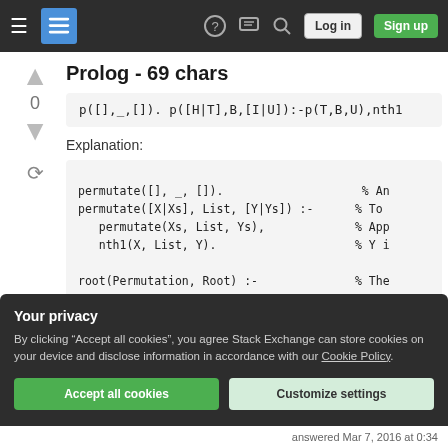Stack Exchange navigation bar with hamburger menu, logo, help, chat, search icons, Log in and Sign up buttons
Prolog - 69 chars
p([],_,[]). p([H|T],B,[I|U]):-p(T,B,U),nth1
Explanation:
permutate([], _, []).                    % An
permutate([X|Xs], List, [Y|Ys]) :-      % To
   permutate(Xs, List, Ys),             % App
   nth1(X, List, Y).                    % Y i

root(Permutation, Root) :-              % The
Your privacy
By clicking "Accept all cookies", you agree Stack Exchange can store cookies on your device and disclose information in accordance with our Cookie Policy.
answered Mar 7, 2016 at 0:34